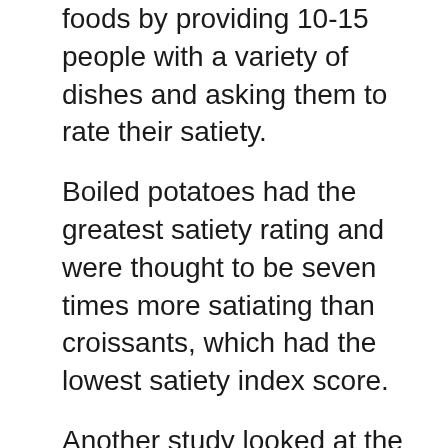foods by providing 10-15 people with a variety of dishes and asking them to rate their satiety.
Boiled potatoes had the greatest satiety rating and were thought to be seven times more satiating than croissants, which had the lowest satiety index score.
Another study looked at the effects of rice, potatoes, and pasta on food intake and satiety in 10 people. Potatoes were determined to be the most satiating and resulted in the greatest reduction in overall calorie consumption.